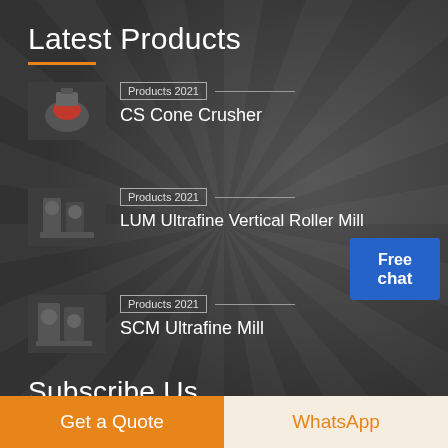Latest Products
Products 2021 — CS Cone Crusher
Products 2021 — LUM Ultrafine Vertical Roller Mill
Products 2021 — SCM Ultrafine Mill
Subscribe Us
Through 30 year's hard work, Indus's staff built supremacy of credibility, excellent quality, service "Indus" brand, and has made
Free chat
Get a Quote
WhatsApp